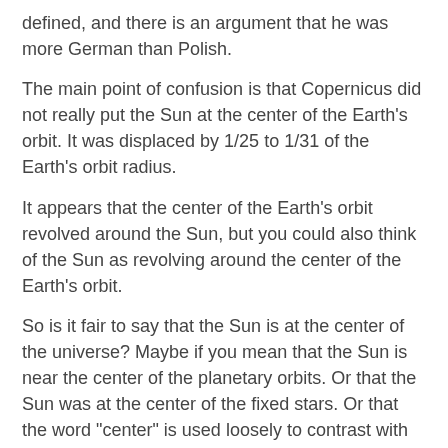defined, and there is an argument that he was more German than Polish.
The main point of confusion is that Copernicus did not really put the Sun at the center of the Earth's orbit. It was displaced by 1/25 to 1/31 of the Earth's orbit radius.
It appears that the center of the Earth's orbit revolved around the Sun, but you could also think of the Sun as revolving around the center of the Earth's orbit.
So is it fair to say that the Sun is at the center of the universe? Maybe if you mean that the Sun is near the center of the planetary orbits. Or that the Sun was at the center of the fixed stars. Or that the word "center" is used loosely to contrast with an Earth-centered system.
In Kepler's system, and Newton's, the Sun is not at the center of any orbit, but at a focus of an ellipse. It was later learned that the Sun orbits around a black hole at the center of the Milky Way galaxy.